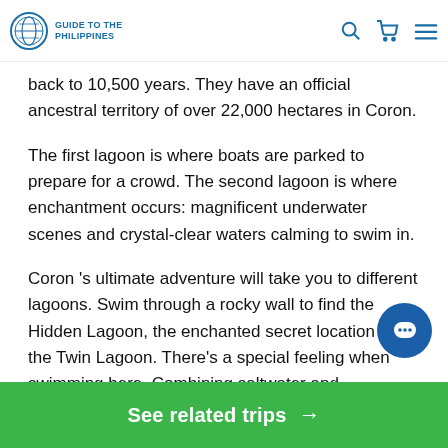Guide to the Philippines
back to 10,500 years. They have an official ancestral territory of over 22,000 hectares in Coron.
The first lagoon is where boats are parked to prepare for a crowd. The second lagoon is where enchantment occurs: magnificent underwater scenes and crystal-clear waters calming to swim in.
Coron 's ultimate adventure will take you to different lagoons. Swim through a rocky wall to find the Hidden Lagoon, the enchanted secret location of the Twin Lagoon. There's a special feeling when swimming here. Combining saltwater and freshwater produces a combination of cold and dry, allowing it the perfect temperature for diving underwater.
See related trips →